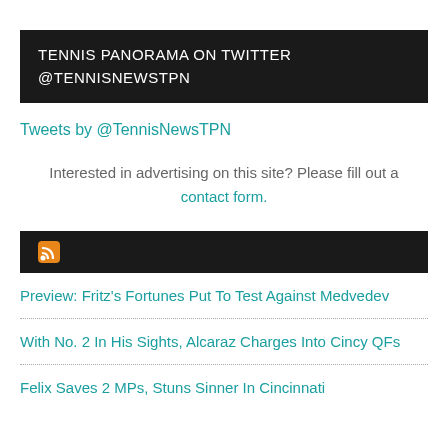TENNIS PANORAMA ON TWITTER @TENNISNEWSTPN
Tweets by @TennisNewsTPN
Interested in advertising on this site? Please fill out a contact form.
[Figure (other): RSS feed icon bar with orange RSS icon on dark background]
Preview: Fritz's Fortunes Put To Test Against Medvedev
With No. 2 In His Sights, Alcaraz Charges Into Cincy QFs
Felix Saves 2 MPs, Stuns Sinner In Cincinnati